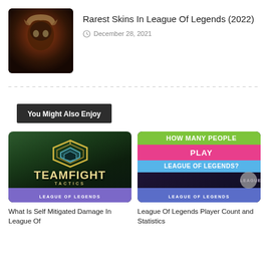[Figure (photo): Thumbnail image of a dark fantasy game character with orange/brown tones, glowing effects]
Rarest Skins In League Of Legends (2022)
December 28, 2021
You Might Also Enjoy
[Figure (photo): Teamfight Tactics game logo on dark green background with LEAGUE OF LEGENDS badge at bottom]
[Figure (photo): How Many People Play League of Legends? text graphic on dark purple background with colored bands and LEAGUE OF LEGENDS badge]
What Is Self Mitigated Damage In League Of
League Of Legends Player Count and Statistics